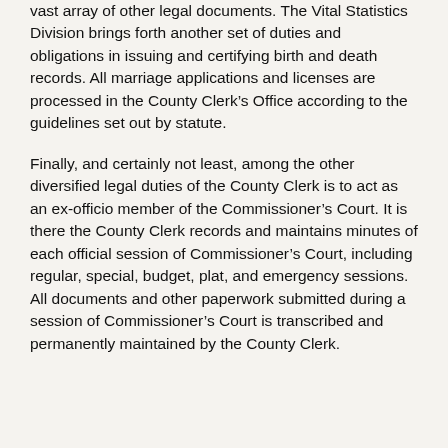vast array of other legal documents. The Vital Statistics Division brings forth another set of duties and obligations in issuing and certifying birth and death records. All marriage applications and licenses are processed in the County Clerk’s Office according to the guidelines set out by statute.
Finally, and certainly not least, among the other diversified legal duties of the County Clerk is to act as an ex-officio member of the Commissioner’s Court. It is there the County Clerk records and maintains minutes of each official session of Commissioner’s Court, including regular, special, budget, plat, and emergency sessions. All documents and other paperwork submitted during a session of Commissioner’s Court is transcribed and permanently maintained by the County Clerk.